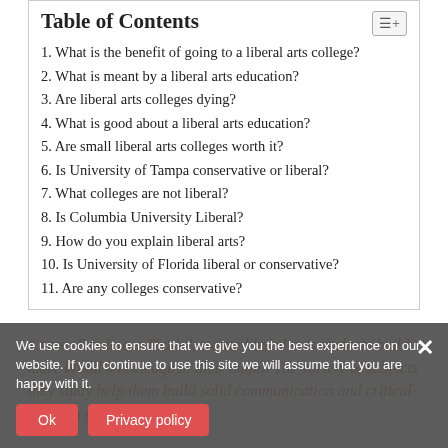Table of Contents
1. What is the benefit of going to a liberal arts college?
2. What is meant by a liberal arts education?
3. Are liberal arts colleges dying?
4. What is good about a liberal arts education?
5. Are small liberal arts colleges worth it?
6. Is University of Tampa conservative or liberal?
7. What colleges are not liberal?
8. Is Columbia University Liberal?
9. How do you explain liberal arts?
10. Is University of Florida liberal or conservative?
11. Are any colleges conservative?
Career Readiness That’s because liberal arts students build more broad knowledge in their major. The variety of subjects they study help them build solid communication and critical-thinking skills
We use cookies to ensure that we give you the best experience on our website. If you continue to use this site we will assume that you are happy with it.